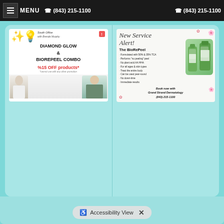MENU  ☎ (843) 215-1100  ☎ (843) 215-1100
[Figure (photo): Promotional card for Diamond Glow & BioRePeel Combo at South Office with Brenda Murphy. Shows %15 OFF products. Features two women in medical white coats.]
[Figure (infographic): New Service Alert! The BioRePeel promotional card. Lists features: Formulated with 50% & 35% TCA, Performs no peeling peel, No plant used AA HHA, For all ages & skin types, Treat the entire body, Can be used year-round, No down-time, Immediate results. Book now with Grand Strand Dermatology (843)-215-1100. Shows green juice bottles with flowers.]
Accessibility View  ×